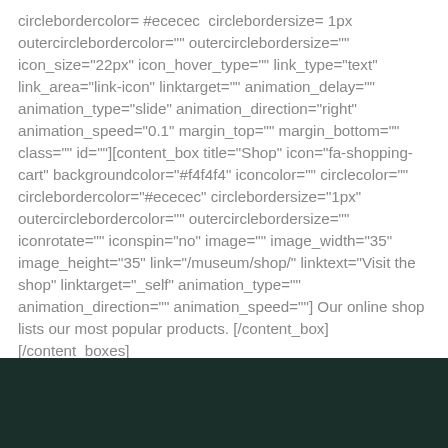circlebordercolor= #ececec  circlebordersize= 1px outercirclebordercolor="" outercirclebordersize="" icon_size="22px" icon_hover_type="" link_type="text" link_area="link-icon" linktarget="" animation_delay="" animation_type="slide" animation_direction="right" animation_speed="0.1" margin_top="" margin_bottom="" class="" id=""][content_box title="Shop" icon="fa-shopping-cart" backgroundcolor="#f4f4f4" iconcolor="" circlecolor="" circlebordercolor="#ececec" circlebordersize="1px" outercirclebordercolor="" outercirclebordersize="" iconrotate="" iconspin="no" image="" image_width="35" image_height="35" link="/museum/shop/" linktext="Visit the shop" linktarget="_self" animation_type="" animation_direction="" animation_speed=""] Our online shop lists our most popular products. [/content_box][/content_boxes]